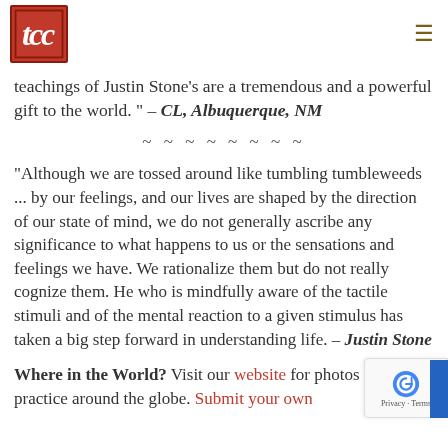TCC logo and navigation menu
teachings of Justin Stone's are a tremendous and a powerful gift to the world. " – CL, Albuquerque, NM
~ ~ ~ ~ ~ ~ ~ ~
“Although we are tossed around like tumbling tumbleweeds ... by our feelings, and our lives are shaped by the direction of our state of mind, we do not generally ascribe any significance to what happens to us or the sensations and feelings we have. We rationalize them but do not really cognize them. He who is mindfully aware of the tactile stimuli and of the mental reaction to a given stimulus has taken a big step forward in understanding life. – Justin Stone
Where in the World? Visit our website for photos of TCC practice around the globe. Submit your own